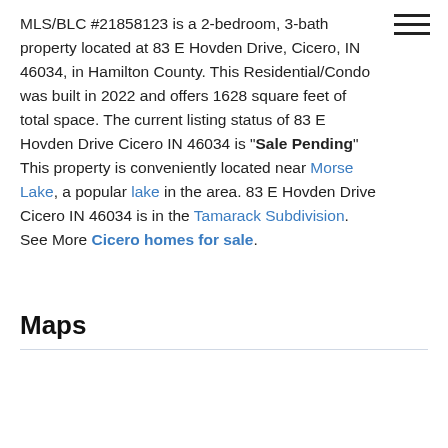MLS/BLC #21858123 is a 2-bedroom, 3-bath property located at 83 E Hovden Drive, Cicero, IN 46034, in Hamilton County. This Residential/Condo was built in 2022 and offers 1628 square feet of total space. The current listing status of 83 E Hovden Drive Cicero IN 46034 is "Sale Pending" This property is conveniently located near Morse Lake, a popular lake in the area. 83 E Hovden Drive Cicero IN 46034 is in the Tamarack Subdivision. See More Cicero homes for sale.
Maps